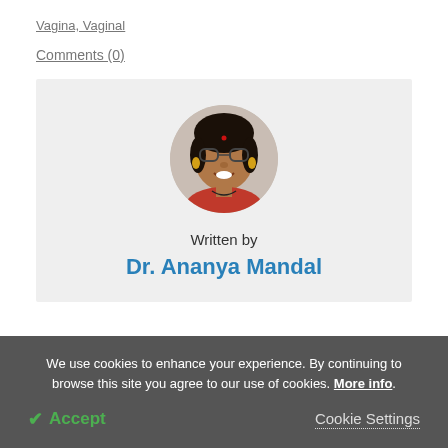Vagina, Vaginal
Comments (0)
[Figure (photo): Circular profile photo of Dr. Ananya Mandal, a woman with glasses smiling, wearing a red top.]
Written by
Dr. Ananya Mandal
We use cookies to enhance your experience. By continuing to browse this site you agree to our use of cookies. More info.
✓ Accept
Cookie Settings